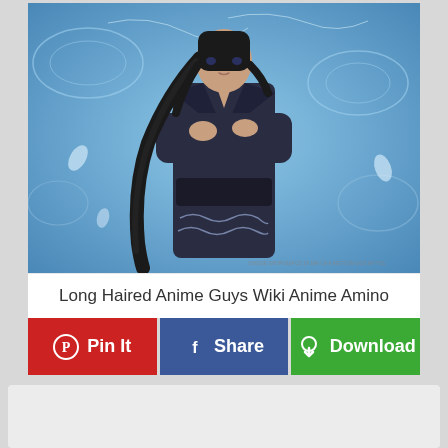[Figure (illustration): Anime illustration of a long-haired male character wearing a dark navy kimono with wave patterns, arms crossed, standing against a blue decorative background with swirl motifs. Small watermark text visible at bottom right.]
Long Haired Anime Guys Wiki Anime Amino
Pin It
Share
Download